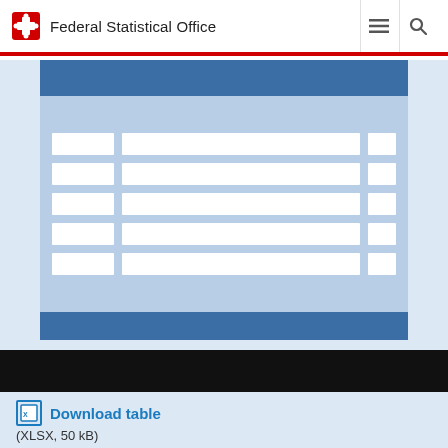Federal Statistical Office
[Figure (illustration): Screenshot of Federal Statistical Office website showing a table preview illustration with blue header, rows of white cells on light blue background, and a black bar at bottom]
Download table
(XLSX, 50 kB)
An updated version of this document is available. Please see the following link: